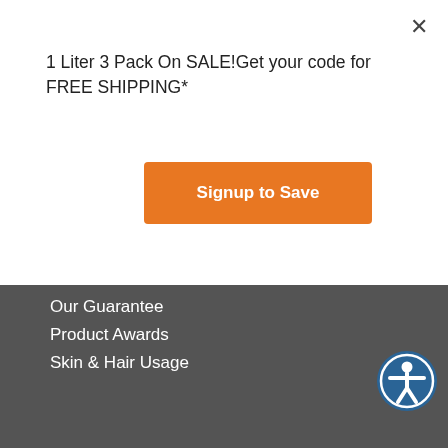1 Liter 3 Pack On SALE!Get your code for FREE SHIPPING*
Signup to Save
Our Guarantee
Product Awards
Skin & Hair Usage
LEARN ABOUT GRAPESEED OIL
About Grapeseed Oil
Health Benefits
Cooking with Grapeseed Oil
Calories & Nutrition Facts
Recipes